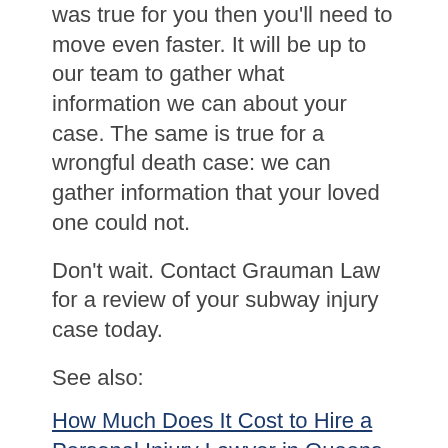was true for you then you'll need to move even faster. It will be up to our team to gather what information we can about your case. The same is true for a wrongful death case: we can gather information that your loved one could not.
Don't wait. Contact Grauman Law for a review of your subway injury case today.
See also:
How Much Does It Cost to Hire a Personal Injury Lawyer in Queens, NY?
Why You Would Rather Settle Your